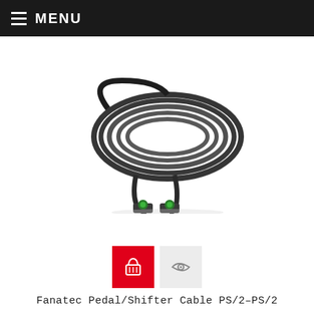MENU
[Figure (photo): Coiled black cable with two PS/2 mini-DIN green connectors at the ends, coiled into a bundle and photographed on a white background.]
[Figure (infographic): Two action buttons: a red shopping cart/basket button and a grey eye/view button]
Fanatec Pedal/Shifter Cable PS/2–PS/2